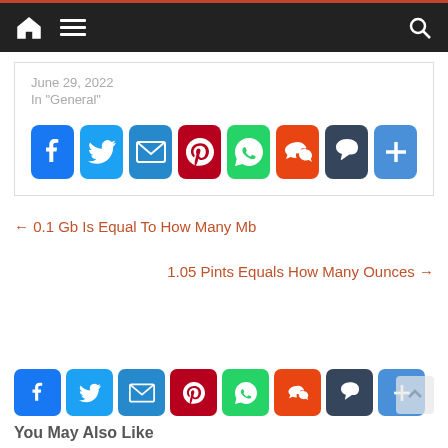Navigation bar with home, menu, and search icons
June 29, 2022
In "General"
[Figure (infographic): Social share buttons: Facebook, Twitter, Email, Pinterest, WhatsApp, Reddit, Tumblr, More]
← 0.1 Gb Is Equal To How Many Mb
1.05 Pints Equals How Many Ounces →
[Figure (infographic): Social share buttons row: Facebook, Twitter, Email, Pinterest, WhatsApp, Reddit, Tumblr, More]
You May Also Like